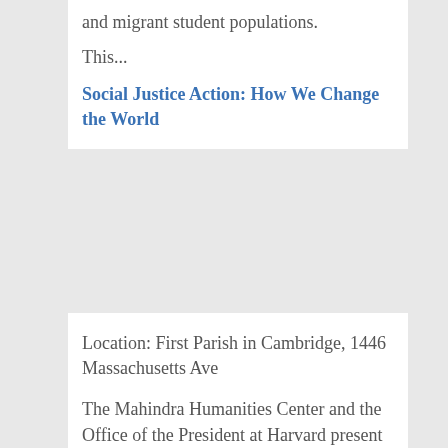and migrant student populations. This...
Social Justice Action: How We Change the World
Location: First Parish in Cambridge, 1446 Massachusetts Ave
The Mahindra Humanities Center and the Office of the President at Harvard present the Tanner Lectures on Human Values: Bryan...